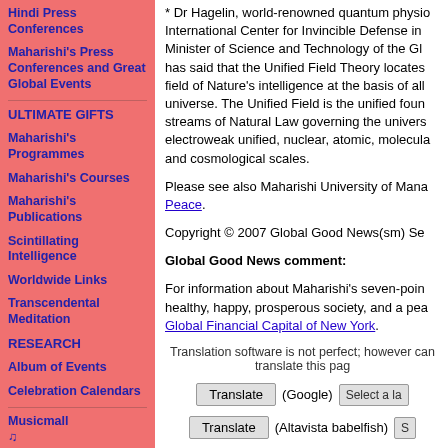Hindi Press Conferences
Maharishi's Press Conferences and Great Global Events
ULTIMATE GIFTS
Maharishi's Programmes
Maharishi's Courses
Maharishi's Publications
Scintillating Intelligence
Worldwide Links
Transcendental Meditation
RESEARCH
Album of Events
Celebration Calendars
Musicmall ♫
* Dr Hagelin, world-renowned quantum physio... International Center for Invincible Defense in... Minister of Science and Technology of the Gl... has said that the Unified Field Theory locates... field of Nature's intelligence at the basis of al... universe. The Unified Field is the unified foun... streams of Natural Law governing the univers... electroweak unified, nuclear, atomic, molecula... and cosmological scales.
Please see also Maharishi University of Mana... Peace.
Copyright © 2007 Global Good News(sm) Se...
Global Good News comment:
For information about Maharishi's seven-poin... healthy, happy, prosperous society, and a pea... Global Financial Capital of New York.
Translation software is not perfect; however... can translate this pag...
Translate (Google) Select a la...
Translate (Altavista babelfish) S...